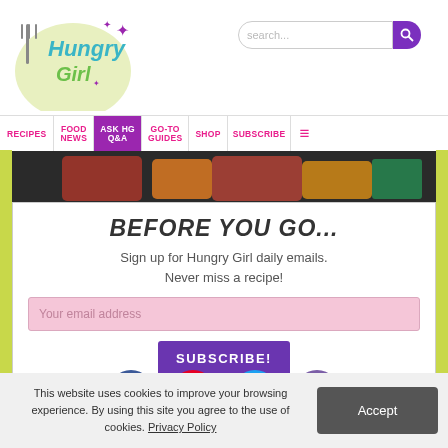[Figure (logo): Hungry Girl logo with fork and star decorations, teal and green text]
search...
RECIPES | FOOD NEWS | ASK HG Q&A | GO-TO GUIDES | SHOP | SUBSCRIBE | ≡
[Figure (photo): Food photo showing colorful dish in pan at top of subscription box]
BEFORE YOU GO...
Sign up for Hungry Girl daily emails. Never miss a recipe!
Your email address
SUBSCRIBE!
[Figure (infographic): Social media icons: Facebook (blue circle), Pinterest (red circle), Twitter (light blue circle), Email (purple circle)]
This website uses cookies to improve your browsing experience. By using this site you agree to the use of cookies. Privacy Policy
Accept